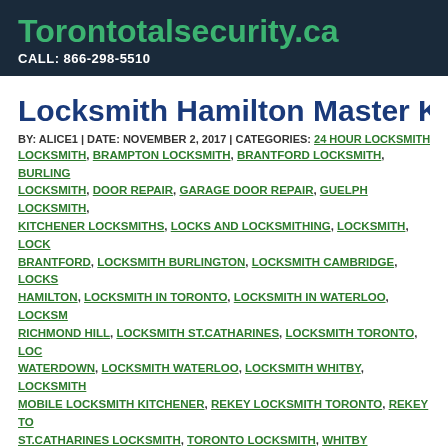Torontotalsecurity.ca
CALL: 866-298-5510
Locksmith Hamilton Master Key Lo
BY: ALICE1 | DATE: NOVEMBER 2, 2017 | CATEGORIES: 24 HOUR LOCKSMITH, LOCKSMITH, BRAMPTON LOCKSMITH, BRANTFORD LOCKSMITH, BURLINGTON LOCKSMITH, DOOR REPAIR, GARAGE DOOR REPAIR, GUELPH LOCKSMITH, KITCHENER LOCKSMITHS, LOCKS AND LOCKSMITHING, LOCKSMITH, LOCKSMITH BRANTFORD, LOCKSMITH BURLINGTON, LOCKSMITH CAMBRIDGE, LOCKSMITH HAMILTON, LOCKSMITH IN TORONTO, LOCKSMITH IN WATERLOO, LOCKSMITH RICHMOND HILL, LOCKSMITH ST.CATHARINES, LOCKSMITH TORONTO, LOCKSMITH WATERDOWN, LOCKSMITH WATERLOO, LOCKSMITH WHITBY, LOCKSMITH MOBILE LOCKSMITH KITCHENER, REKEY LOCKSMITH TORONTO, REKEY TO ST.CATHARINES LOCKSMITH, TORONTO LOCKSMITH, WHITBY LOCKSMITH
Locksmith Hamilton Master K
Locksmith Hamilton Master Key Locks service will help you have a have by reducing all of them to one. Locksmith Hamilton Master K